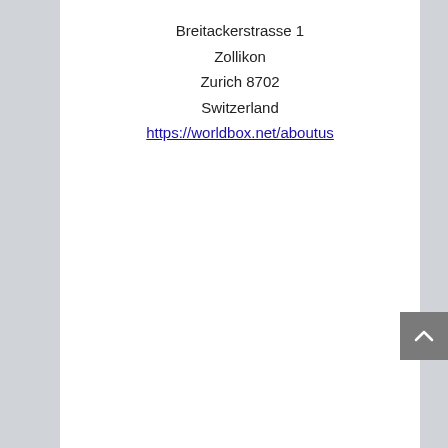Breitackerstrasse 1
Zollikon
Zurich 8702
Switzerland
https://worldbox.net/aboutus